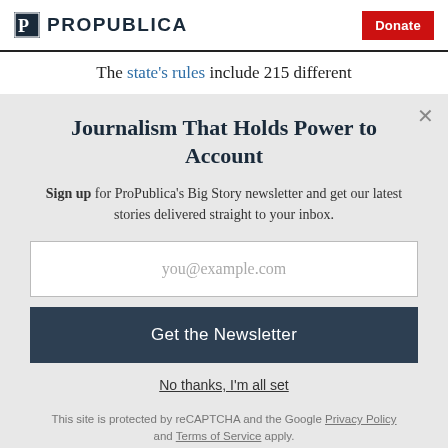ProPublica | Donate
The state's rules include 215 different
Journalism That Holds Power to Account
Sign up for ProPublica's Big Story newsletter and get our latest stories delivered straight to your inbox.
you@example.com
Get the Newsletter
No thanks, I'm all set
This site is protected by reCAPTCHA and the Google Privacy Policy and Terms of Service apply.